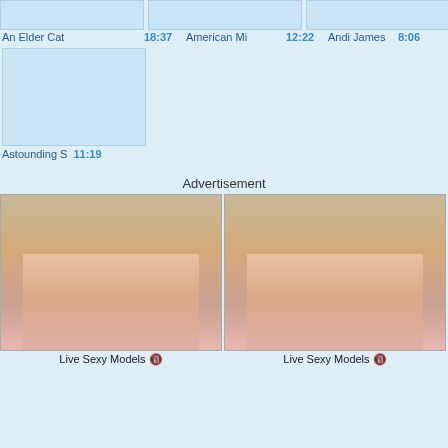[Figure (screenshot): Three video thumbnails in a row, light blue placeholders. Labels: 'An Elder Cat 18:37', 'American Mi 12:22', 'Andi James 8:06']
An Elder Cat  18:37    American Mi  12:22    Andi James  8:06
[Figure (screenshot): Single video thumbnail, light blue placeholder. Label: 'Astounding S 11:19']
Astounding S  11:19
Advertisement
[Figure (photo): Two side-by-side advertisement images showing adult content. Captions: 'Live Sexy Models' each.]
Live Sexy Models 🔞
Live Sexy Models 🔞